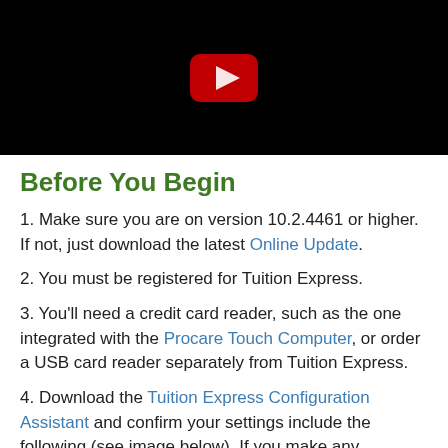[Figure (screenshot): Black video thumbnail with YouTube-style red play button in the center]
Before You Begin
1. Make sure you are on version 10.2.4461 or higher. If not, just download the latest Online Update.
2. You must be registered for Tuition Express.
3. You'll need a credit card reader, such as the one integrated with the Procare Touch Computer, or order a USB card reader separately from Tuition Express.
4. Download the Tuition Express Configuration Assistant and confirm your settings include the following (see image below). If you make any changes, click Update >